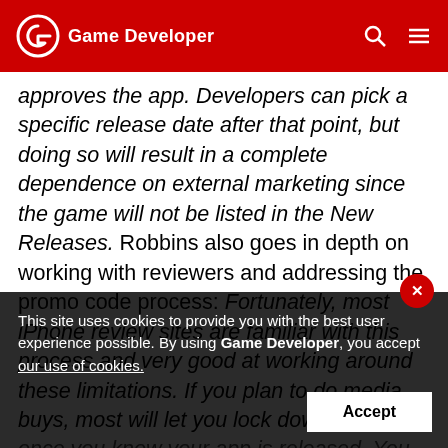Game Developer
approves the app. Developers can pick a specific release date after that point, but doing so will result in a complete dependence on external marketing since the game will not be listed in the New Releases. Robbins also goes in depth on working with reviewers and addressing the promo code process: Fortunately, most iPhone review sites are familiar with this process and very good at working around these limitations. If you plan to do media buys, most will let you lock down the time once you know your app is released. You can also send your game ahead of its release so they can potentially have a review ready ahead of time. In addition to advance copies, Apple provides up to 50 promo codes for each application version (submitting an update resets the count).
This site uses cookies to provide you with the best user experience possible. By using Game Developer, you accept our use of cookies.